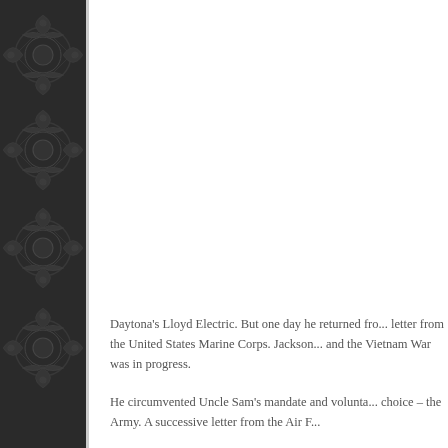[Figure (illustration): Dark ornamental damask pattern sidebar on the left side of the page, featuring intricate floral and scroll designs in dark charcoal/near-black tones]
Daytona's Lloyd Electric. But one day he returned fro... letter from the United States Marine Corps. Jackson... and the Vietnam War was in progress.

He circumvented Uncle Sam's mandate and volunta... choice – the Army. A successive letter from the Air F...